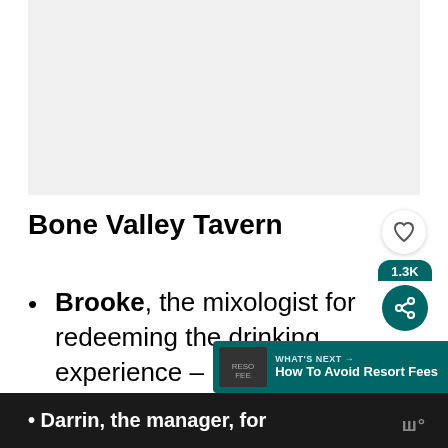[Figure (photo): Image placeholder area at top of page (light grey rectangle)]
Bone Valley Tavern
Brooke, the mixologist for redeeming the drinking experience – rocked the … eloquently, and they were on point.
Darrin, the manager, for …